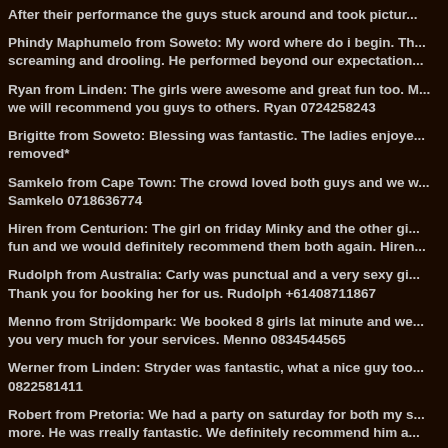After their performance the guys stuck around and took pictur...
Phindy Maphumelo from Soweto: My word where do i begin. Th... screaming and drooling. He performed beyond our expectation...
Ryan from Linden: The girls were awesome and great fun too. M... we will recommend you guys to others. Ryan 0724258243
Brigitte from Soweto: Blessing was fantastic. The ladies enjoye... removed*
Samkelo from Cape Town: The crowd loved both guys and we w... Samkelo 0718636774
Hiren from Centurion: The girl on friday Minky and the other gi... fun and we would definitely recommend them both again. Hiren...
Rudolph from Australia: Carly was punctual and a very sexy gi... Thank you for booking her for us. Rudolph +61408711867
Menno from Strijdompark: We booked 8 girls lat minute and we... you very much for your services. Menno 0834544565
Werner from Linden: Stryder was fantastic, what a nice guy too... 0822581411
Robert from Pretoria: We had a party on saturday for both my s... more. He was rreally fantastic. We definitely recommend him a...
Les from Krugersdorp: She was fantastic, hot, great personalit... her. Les 0761887974
Nick from Benoni: The female stripper was great and really ma...